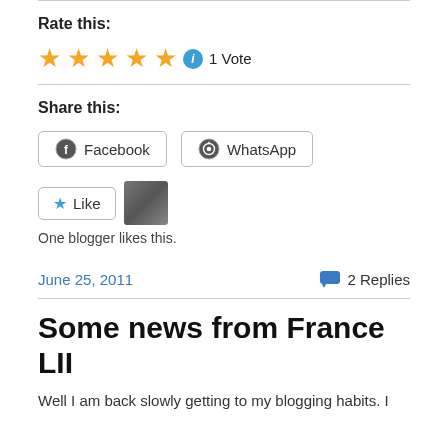Rate this:
★★★★★ ℹ 1 Vote
Share this:
Facebook
WhatsApp
Like
One blogger likes this.
June 25, 2011
2 Replies
Some news from France LII
Well I am back slowly getting to my blogging habits. I